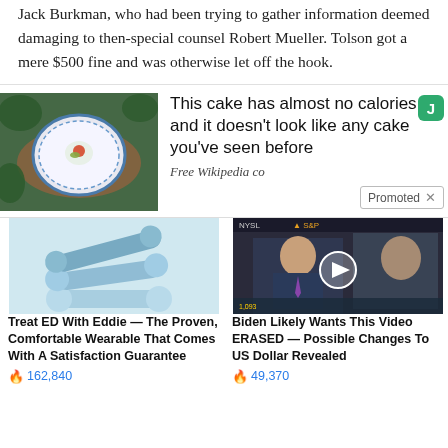Jack Burkman, who had been trying to gather information deemed damaging to then-special counsel Robert Mueller. Tolson got a mere $500 fine and was otherwise let off the hook.
[Figure (photo): Top-down photo of a blue and white decorative plate with a small portion of food, placed on a wooden board surrounded by green foliage.]
This cake has almost no calories and it doesn't look like any cake you've seen before
Free Wikipedia co
Promoted
[Figure (photo): Light blue stacked dumbbell-shaped wearable devices for treating ED.]
Treat ED With Eddie — The Proven, Comfortable Wearable That Comes With A Satisfaction Guarantee
162,840
[Figure (photo): Video thumbnail of a man in a suit being interviewed on a financial news set with NYSE visible in background; play button overlay.]
Biden Likely Wants This Video ERASED — Possible Changes To US Dollar Revealed
49,370